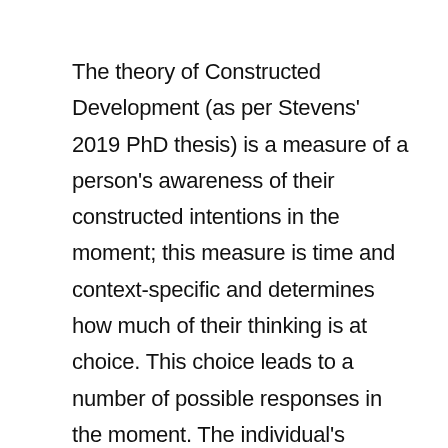The theory of Constructed Development (as per Stevens' 2019 PhD thesis) is a measure of a person's awareness of their constructed intentions in the moment; this measure is time and context-specific and determines how much of their thinking is at choice. This choice leads to a number of possible responses in the moment. The individual's capacity to choose their response in the moment informs personality and thus behaviour. When applying this theory to systems thinking, consider the people in the room, their capacity to construct meaning and the differences in results from different layers of the